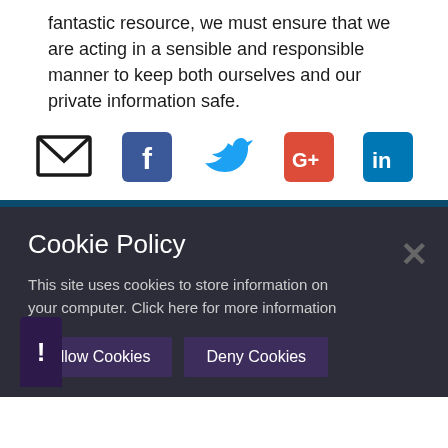fantastic resource, we must ensure that we are acting in a sensible and responsible manner to keep both ourselves and our private information safe.
[Figure (infographic): Row of social sharing icons: email envelope, Facebook (blue), Twitter (blue bird), Google+ (red), LinkedIn (blue)]
Cookie Policy
This site uses cookies to store information on your computer. Click here for more information
Allow Cookies  Deny Cookies